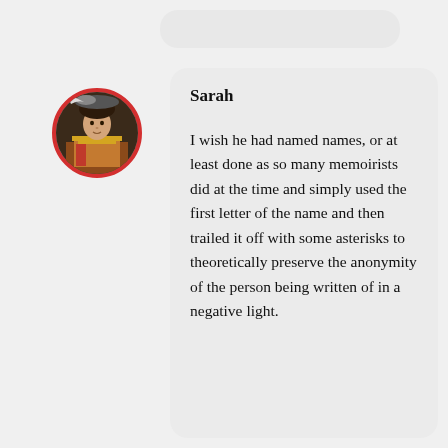[Figure (illustration): Circular avatar of a person wearing a historical-style hat and costume, with a red circular border around it.]
Sarah
I wish he had named names, or at least done as so many memoirists did at the time and simply used the first letter of the name and then trailed it off with some asterisks to theoretically preserve the anonymity of the person being written of in a negative light.